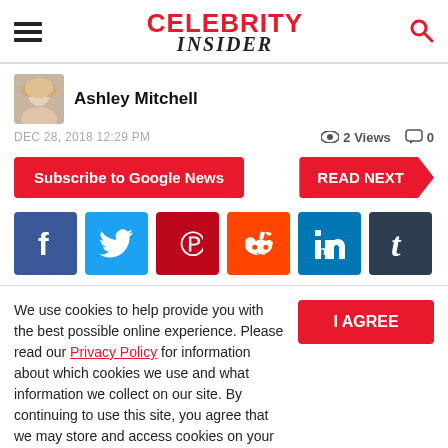CELEBRITY INSIDER
Ashley Mitchell
DEC 28, 2018 12:29 PM    👁 2 Views   💬 0
Subscribe to Google News
READ NEXT
[Figure (infographic): Social media share buttons: Facebook (blue), Twitter (light blue), Pinterest (red), Reddit (orange-red), LinkedIn (blue), Tumblr (dark navy)]
We use cookies to help provide you with the best possible online experience. Please read our Privacy Policy for information about which cookies we use and what information we collect on our site. By continuing to use this site, you agree that we may store and access cookies on your device.
I AGREE